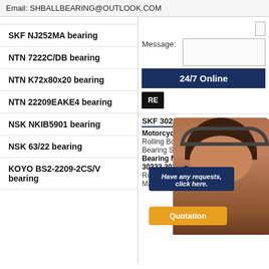Email: SHBALLBEARING@OUTLOOK.COM
SKF NJ252MA bearing
NTN 7222C/DB bearing
NTN K72x80x20 bearing
NTN 22209EAKE4 bearing
NSK NKIB5901 bearing
NSK 63/22 bearing
KOYO BS2-2209-2CS/V bearing
Message:
24/7 Online
RE
SKF 30224 Be...
Motorcycle B...
Rolling Body:...
Bearing Stee...
Bearing Manufacture Distribut...
30223 30224 30225 30226 3022...
Rolling Body: Roller Bearings Th...
Material: Bearing Steel Spherica...
[Figure (photo): Customer service agent with headset smiling]
Have any requests, click here.
Quotation